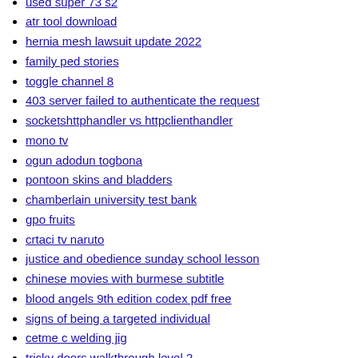used super 73 s2
atr tool download
hernia mesh lawsuit update 2022
family ped stories
toggle channel 8
403 server failed to authenticate the request
socketshttphandler vs httpclienthandler
mono tv
ogun adodun togbona
pontoon skins and bladders
chamberlain university test bank
gpo fruits
crtaci tv naruto
justice and obedience sunday school lesson
chinese movies with burmese subtitle
blood angels 9th edition codex pdf free
signs of being a targeted individual
cetme c welding jig
tricky doors walkthrough level 2
1 on 1 adventure gamebooks pdf
30 06 military surplus ammunition
sqlalchemy batch query
habesha betting
sermon on chastening
singapore toto prediction 2022